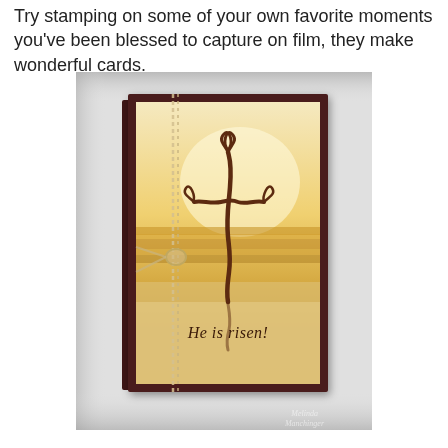Try stamping on some of your own favorite moments you've been blessed to capture on film, they make wonderful cards.
[Figure (photo): A greeting card with a dark maroon/brown border propped upright, showing a beach sunset scene in golden/sepia tones with a decorative ribbon cross stamped on it and the text 'He is risen!' in script. The card is tied with twine and appears to be displayed in a white shadow box. A watermark reading 'Melinda Manchinger' is visible at the bottom right.]